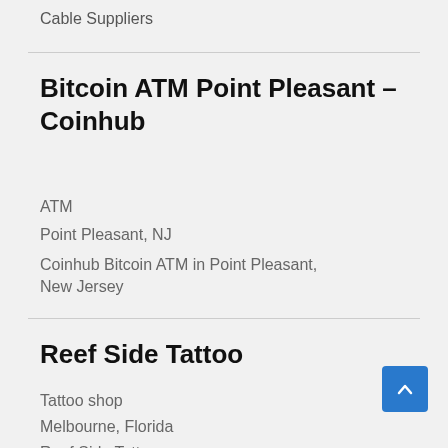Cable Suppliers
Bitcoin ATM Point Pleasant – Coinhub
ATM
Point Pleasant, NJ
Coinhub Bitcoin ATM in Point Pleasant, New Jersey
Reef Side Tattoo
Tattoo shop
Melbourne, Florida
Reef Side Tattoo